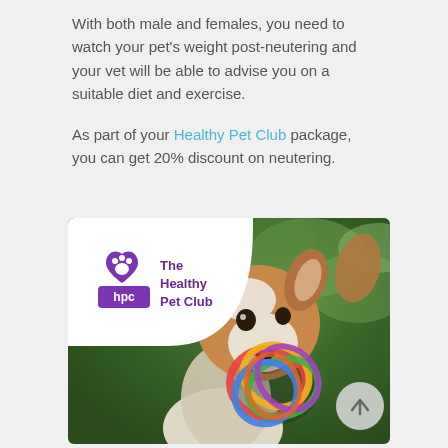With both male and females, you need to watch your pet's weight post-neutering and your vet will be able to advise you on a suitable diet and exercise.
As part of your Healthy Pet Club package, you can get 20% discount on neutering.
[Figure (photo): A Jack Russell terrier dog holding a colorful knotted rubber ball toy in its mouth, photographed outdoors with green foliage in the background. In the upper-left corner is a white rounded logo overlay showing a purple heart with a paw print and 'hpc' text, alongside the text 'The Healthy Pet Club' in purple.]